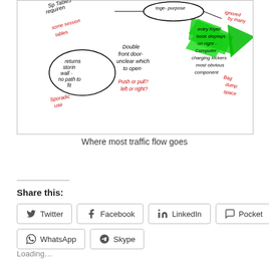[Figure (illustration): Hand-drawn sketch of a library or bookstore floor plan annotation. Shows handwritten notes in black and red ink about traffic flow, entry foyer, book displays, computer charging lockers, double front door, push or pull confusion, sporadic use, returns stored in wall, bag dump space, and a green highlighted arrow indicating where most traffic flow goes.]
Where most traffic flow goes
Share this:
Twitter
Facebook
LinkedIn
Pocket
WhatsApp
Skype
Loading…